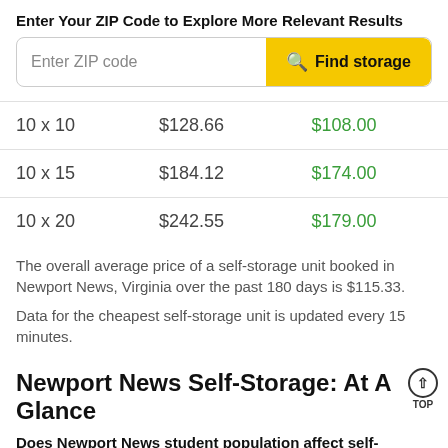Enter Your ZIP Code to Explore More Relevant Results
[Figure (other): Search bar with 'Enter ZIP code' input field and yellow 'Find storage' button]
| Size | Avg Price | Cheapest Price |
| --- | --- | --- |
| 10 x 10 | $128.66 | $108.00 |
| 10 x 15 | $184.12 | $174.00 |
| 10 x 20 | $242.55 | $179.00 |
The overall average price of a self-storage unit booked in Newport News, Virginia over the past 180 days is $115.33.
Data for the cheapest self-storage unit is updated every 15 minutes.
Newport News Self-Storage: At A Glance
Does Newport News student population affect self-storage prices?